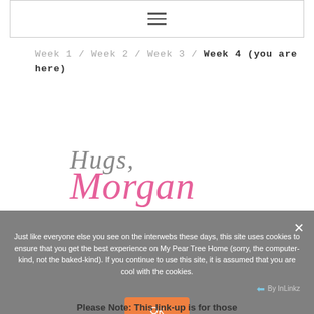[hamburger menu icon]
Week 1 / Week 2 / Week 3 / Week 4 (you are here)
[Figure (illustration): Handwritten-style signature reading 'Hugs, Morgan' where 'Hugs,' is in gray italic and 'Morgan' is in pink cursive script]
Just like everyone else you see on the interwebs these days, this site uses cookies to ensure that you get the best experience on My Pear Tree Home (sorry, the computer-kind, not the baked-kind). If you continue to use this site, it is assumed that you are cool with the cookies.
Please Note: This link-up is for those